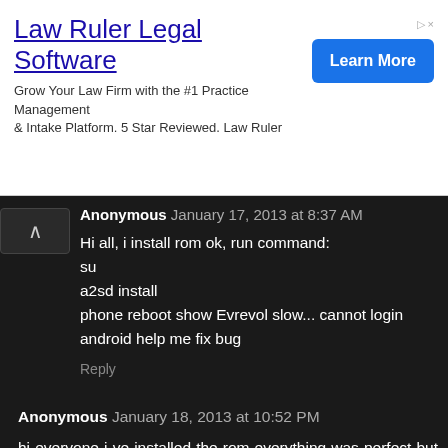[Figure (screenshot): Advertisement banner for Law Ruler Legal Software with title, description text, and Learn More button]
Anonymous January 17, 2013 at 8:37 AM
Hi all, i install rom ok, run command:
su
a2sd install
phone reboot show Evrevol slow... cannot login android help me fix bug
Reply
Anonymous January 18, 2013 at 10:52 PM
hi everyone i ve installed the rom everything was perfect but after the reboot the bhone never opens is stuckin evervol logo...please help...
Reply